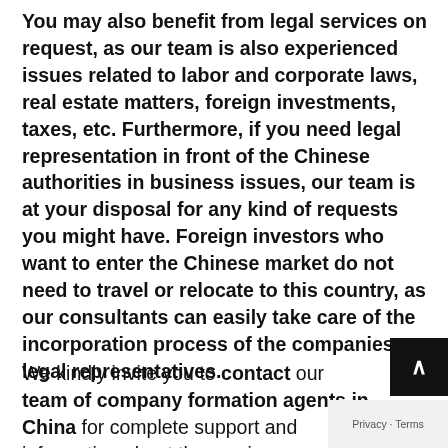You may also benefit from legal services on request, as our team is also experienced issues related to labor and corporate laws, real estate matters, foreign investments, taxes, etc. Furthermore, if you need legal representation in front of the Chinese authorities in business issues, our team is at your disposal for any kind of requests you might have. Foreign investors who want to enter the Chinese market do not need to travel or relocate to this country, as our consultants can easily take care of the incorporation process of the companies as legal representatives.
We kindly invite you to contact our team of company formation agents in China for complete support and information about the services we can provide for you.